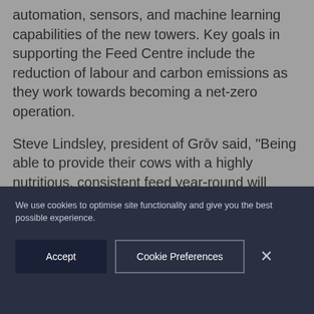automation, sensors, and machine learning capabilities of the new towers. Key goals in supporting the Feed Centre include the reduction of labour and carbon emissions as they work towards becoming a net-zero operation.

Steve Lindsley, president of Grōv said, “Being able to provide their cows with a highly nutritious, consistent feed year-round will reduce the impact of droughts and changing climates and help the Cnossens deliver a more sustainably produced product to consumers.”
We use cookies to optimise site functionality and give you the best possible experience.